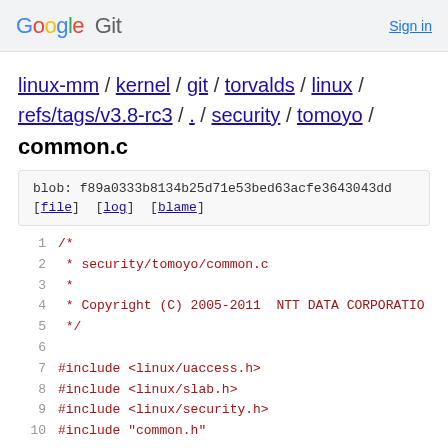Google Git  Sign in
linux-mm / kernel / git / torvalds / linux / refs/tags/v3.8-rc3 / . / security / tomoyo /
common.c
blob: f89a0333b8134b25d71e53bed63acfe3643043dd [file] [log] [blame]
1  /*
2   * security/tomoyo/common.c
3   *
4   * Copyright (C) 2005-2011  NTT DATA CORPORATION
5   */
6  
7  #include <linux/uaccess.h>
8  #include <linux/slab.h>
9  #include <linux/security.h>
10 #include "common.h"